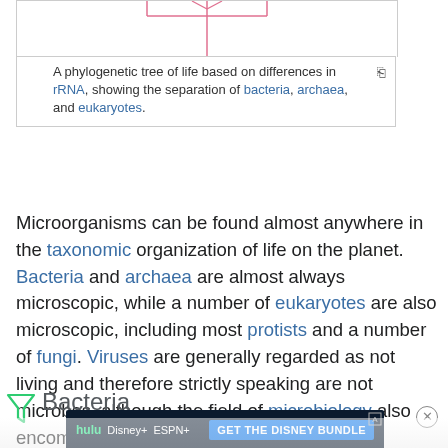[Figure (illustration): Top portion of a phylogenetic tree of life diagram showing branching lines in pink/red colors against white background]
A phylogenetic tree of life based on differences in rRNA, showing the separation of bacteria, archaea, and eukaryotes.
Microorganisms can be found almost anywhere in the taxonomic organization of life on the planet. Bacteria and archaea are almost always microscopic, while a number of eukaryotes are also microscopic, including most protists and a number of fungi. Viruses are generally regarded as not living and therefore strictly speaking are not microbes, although the field of microbiology also encompasses the study of viruses.
Bacteria
[Figure (infographic): Advertisement banner for Disney Bundle featuring Hulu, Disney+, and ESPN+ logos with 'GET THE DISNEY BUNDLE' call to action button on dark blue background]